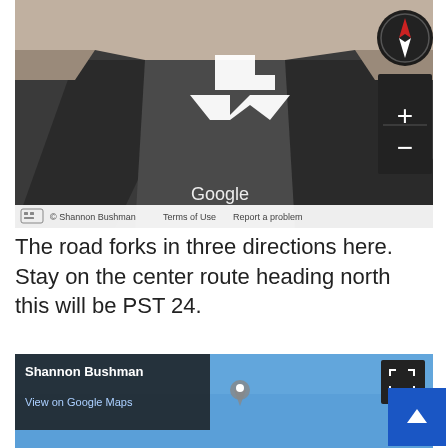[Figure (screenshot): Google Street View screenshot showing a road forking in three directions. Overhead view of asphalt with white directional arrow markers. Controls visible: compass circle in top-right, zoom +/- box, Google watermark, bottom bar with keyboard icon, copyright Shannon Bushman, Terms of Use, Report a problem.]
The road forks in three directions here. Stay on the center route heading north this will be PST 24.
[Figure (screenshot): Google Maps embed showing Shannon Bushman location. Info box in top-left with name 'Shannon Bushman' and 'View on Google Maps' link. Map pin icon. Expand icon in top-right. Blue sky visible in map view.]